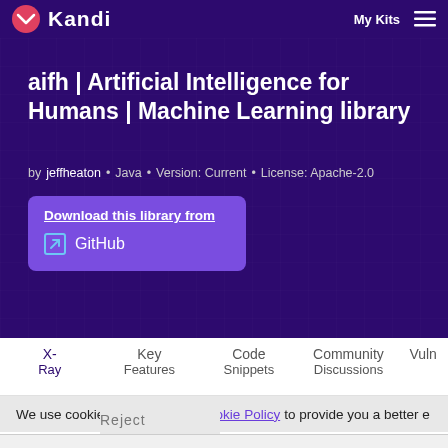Kandi | My Kits
aifh | Artificial Intelligence for Humans | Machine Learning library
by jeffheaton • Java • Version: Current • License: Apache-2.0
Download this library from
GitHub
X-Ray
Key Features
Code Snippets
Community Discussions
Vuln...
We use cookies as outlined in Cookie Policy to provide you a better e
Reject